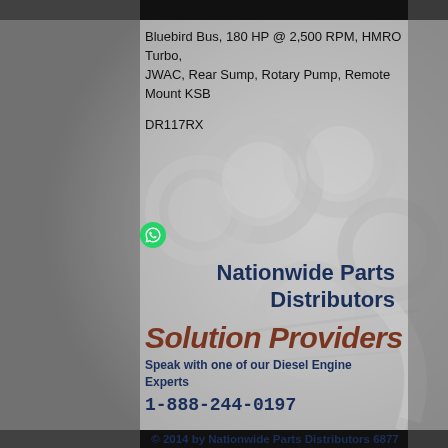[Figure (photo): Background photo of diesel engine parts (cylinder heads/engine block) in grayscale with a semi-transparent light gray overlay panel on the right two-thirds of the page]
Bluebird Bus, 180 HP @ 2,500 RPM, HMRO Turbo, JWAC, Rear Sump, Rotary Pump, Remote Mount KSB
DR117RX
[Figure (logo): WhatsApp green circle icon]
Nationwide Parts Distributors
Solution Providers
Speak with one of our Diesel Engine Experts
1-888-244-0197
© 2014 by Nationwide Parts Distributors 6877 Phillips Industrial Blvd, Jacksonville, FL 32256